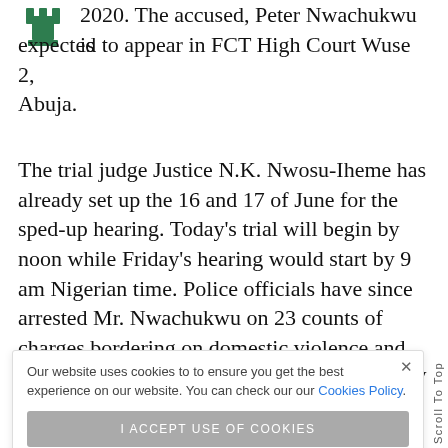[Figure (logo): Green chess piece / tower logo icon in top left corner]
2020. The accused, Peter Nwachukwu is expected to appear in FCT High Court Wuse 2, Abuja.
The trial judge Justice N.K. Nwosu-Iheme has already set up the 16 and 17 of June for the sped-up hearing. Today's trial will begin by noon while Friday's hearing would start by 9 am Nigerian time. Police officials have since arrested Mr. Nwachukwu on 23 counts of charges bordering on domestic violence and murder.
d not guilty
eath.
r him to be
ne lawsuit
would commence
Our website uses cookies to to ensure you get the best experience on our website. You can check our our Cookies Policy.
I ACCEPT USE OF COOKIES
Scroll To Top
would commence